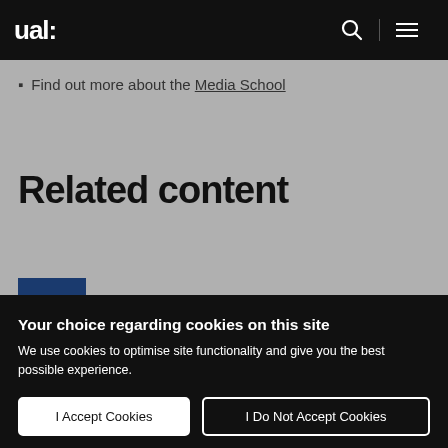ual:
Find out more about the Media School
Related content
Your choice regarding cookies on this site
We use cookies to optimise site functionality and give you the best possible experience.
I Accept Cookies
I Do Not Accept Cookies
Settings